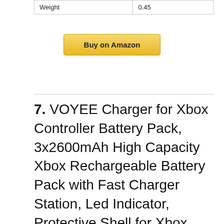| Weight | 0.45 |
Buy on Amazon
7. VOYEE Charger for Xbox Controller Battery Pack, 3x2600mAh High Capacity Xbox Rechargeable Battery Pack with Fast Charger Station, Led Indicator, Protective Shell for Xbox One/S/X/Elite/Series X|S